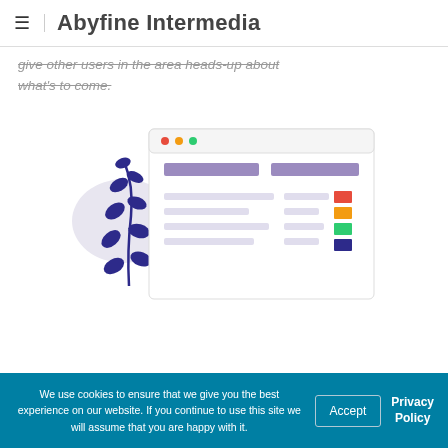Abyfine Intermedia
give other users in the area heads-up about what's to come.
[Figure (illustration): A decorative illustration of a web application interface with a purple/lavender color scheme, showing a browser-like window with placeholder bars and colored status squares (red, orange, green, navy), alongside a botanical branch decoration on the left.]
We use cookies to ensure that we give you the best experience on our website. If you continue to use this site we will assume that you are happy with it.  Accept  Privacy Policy